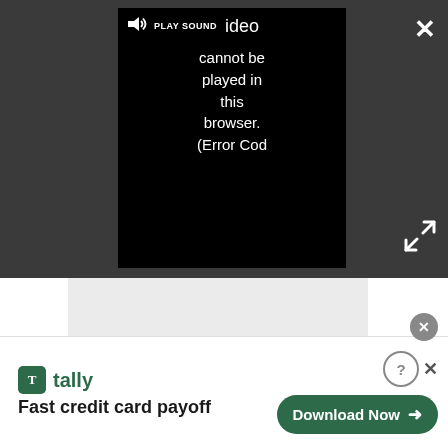[Figure (screenshot): Dark gray browser video player overlay showing a black video box with 'PLAY SOUND' button and speaker icon, error message 'Video cannot be played in this browser. (Error Cod', a white X close button top right, and expand arrows icon bottom right.]
[Figure (screenshot): Light gray empty content rectangle below the dark overlay area.]
[Figure (screenshot): Advertisement banner at the bottom showing Tally app logo, tagline 'Fast credit card payoff', and a green 'Download Now' button with arrow. Includes close X and help/question circle icons.]